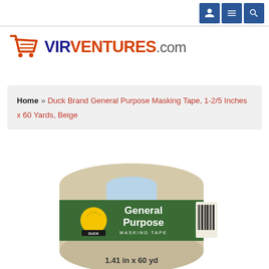[navigation icons: user, menu, search]
[Figure (logo): VirVentures.com logo with shopping cart icon in orange/red and dark blue text]
Home » Duck Brand General Purpose Masking Tape, 1-2/5 Inches x 60 Yards, Beige
[Figure (photo): Roll of Duck Brand General Purpose Masking Tape, beige, 1.41 in x 60 yd, with green label showing duck logo and product name]